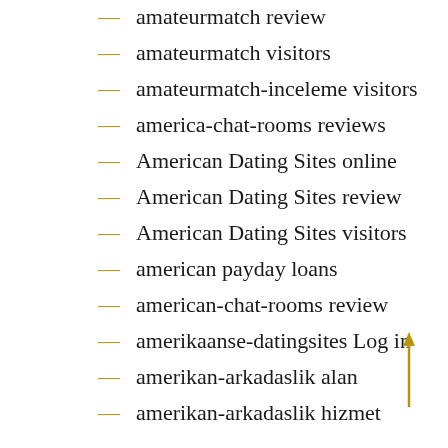amateurmatch review
amateurmatch visitors
amateurmatch-inceleme visitors
america-chat-rooms reviews
American Dating Sites online
American Dating Sites review
American Dating Sites visitors
american payday loans
american-chat-rooms review
amerikaanse-datingsites Log in
amerikan-arkadaslik alan
amerikan-arkadaslik hizmet